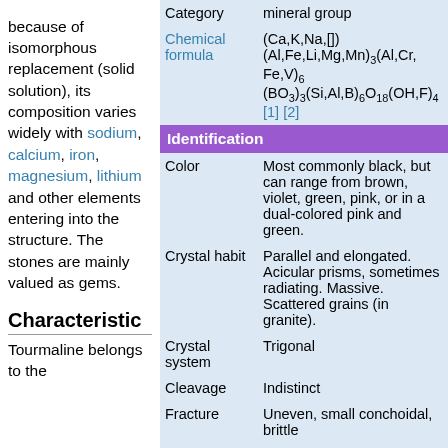because of isomorphous replacement (solid solution), its composition varies widely with sodium, calcium, iron, magnesium, lithium and other elements entering into the structure. The stones are mainly valued as gems.
Characteristic
Tourmaline belongs to the
| Property | Value |
| --- | --- |
| Category | mineral group |
| Chemical formula | (Ca,K,Na,[]) (Al,Fe,Li,Mg,Mn)3(Al,Cr,Fe,V)6 (BO3)3(Si,Al,B)6O18(OH,F)4 [1] [2] |
| Identification |  |
| Color | Most commonly black, but can range from brown, violet, green, pink, or in a dual-colored pink and green. |
| Crystal habit | Parallel and elongated. Acicular prisms, sometimes radiating. Massive. Scattered grains (in granite). |
| Crystal system | Trigonal |
| Cleavage | Indistinct |
| Fracture | Uneven, small conchoidal, brittle |
| Mohs Scale |  |